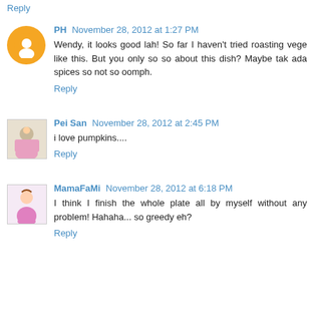Reply
PH November 28, 2012 at 1:27 PM
Wendy, it looks good lah! So far I haven't tried roasting vege like this. But you only so so about this dish? Maybe tak ada spices so not so oomph.
Reply
Pei San November 28, 2012 at 2:45 PM
i love pumpkins....
Reply
MamaFaMi November 28, 2012 at 6:18 PM
I think I finish the whole plate all by myself without any problem! Hahaha... so greedy eh?
Reply